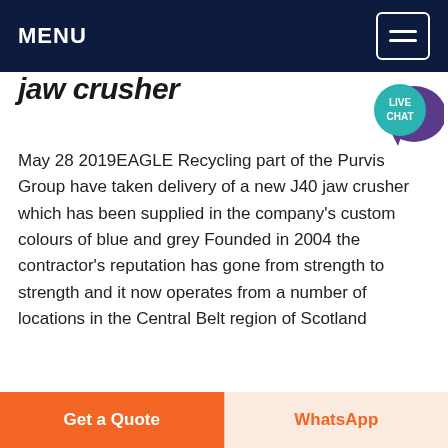MENU
jaw crusher
May 28 2019EAGLE Recycling part of the Purvis Group have taken delivery of a new J40 jaw crusher which has been supplied in the company's custom colours of blue and grey Founded in 2004 the contractor's reputation has gone from strength to strength and it now operates from a number of locations in the Central Belt region of Scotland
Get price
[Figure (photo): Outdoor landscape scene showing mountains and water with machinery]
Get a Quote
WhatsApp